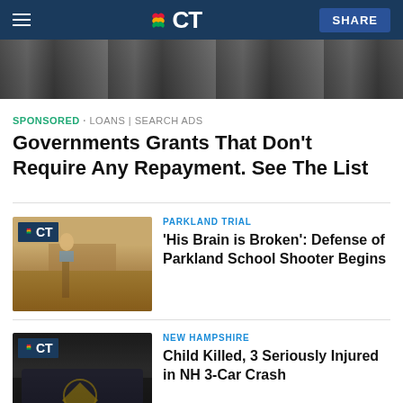NBC CT
[Figure (photo): Partially visible image at top, appears to show money or documents]
SPONSORED · LOANS | SEARCH ADS
Governments Grants That Don't Require Any Repayment. See The List
[Figure (photo): Courtroom scene with a woman in blue blazer standing at a podium, NBC CT logo overlay]
PARKLAND TRIAL
'His Brain is Broken': Defense of Parkland School Shooter Begins
[Figure (photo): Police car with sheriff star badge visible, dark/night scene, NBC CT logo overlay]
NEW HAMPSHIRE
Child Killed, 3 Seriously Injured in NH 3-Car Crash